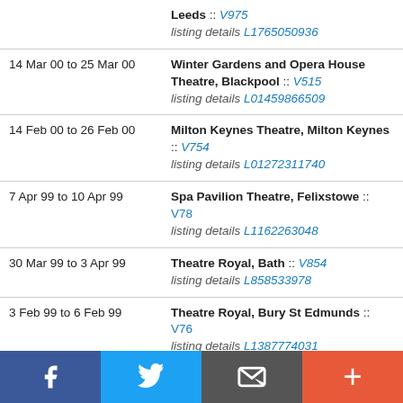| Date | Venue |
| --- | --- |
|  | Leeds :: V975
listing details L1765050936 |
| 14 Mar 00 to 25 Mar 00 | Winter Gardens and Opera House Theatre, Blackpool :: V515
listing details L01459866509 |
| 14 Feb 00 to 26 Feb 00 | Milton Keynes Theatre, Milton Keynes :: V754
listing details L01272311740 |
| 7 Apr 99 to 10 Apr 99 | Spa Pavilion Theatre, Felixstowe :: V78
listing details L1162263048 |
| 30 Mar 99 to 3 Apr 99 | Theatre Royal, Bath :: V854
listing details L858533978 |
| 3 Feb 99 to 6 Feb 99 | Theatre Royal, Bury St Edmunds :: V76
listing details L1387774031 |
| 3 Feb 99 to 6 Feb 99 | Theatre Royal, Bury St Edmunds :: V76
listing details L1632143363 |
[Figure (infographic): Social media sharing bar with Facebook, Twitter, email/share, and plus buttons]